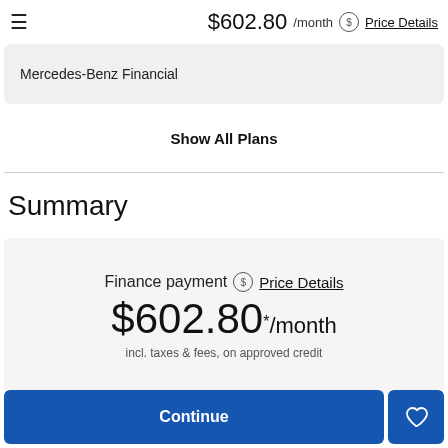$602.80 /month  Price Details
Mercedes-Benz Financial
Show All Plans
Summary
Finance payment  Price Details
$602.80 * /month
incl. taxes & fees, on approved credit
Continue